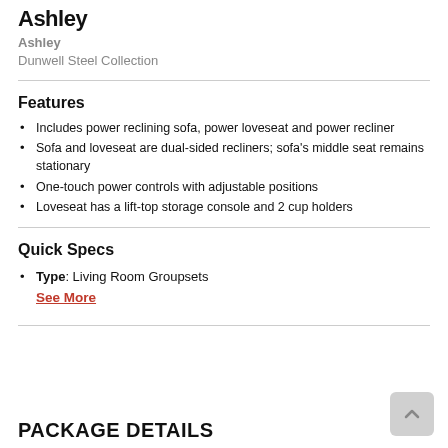Ashley
Dunwell Steel Collection
Features
Includes power reclining sofa, power loveseat and power recliner
Sofa and loveseat are dual-sided recliners; sofa's middle seat remains stationary
One-touch power controls with adjustable positions
Loveseat has a lift-top storage console and 2 cup holders
Quick Specs
Type: Living Room Groupsets
See More
PACKAGE DETAILS